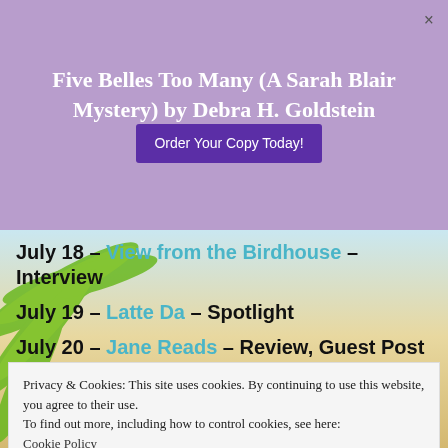Five Belles Too Many (A Sarah Blair Mystery) by Debra H. Goldstein
July 18 – View from the Birdhouse – Interview
July 19 – Latte Da – Spotlight
July 20 – Jane Reads – Review, Guest Post
Privacy & Cookies: This site uses cookies. By continuing to use this website, you agree to their use. To find out more, including how to control cookies, see here: Cookie Policy
July 23- StoreyBook Reviews – Guest